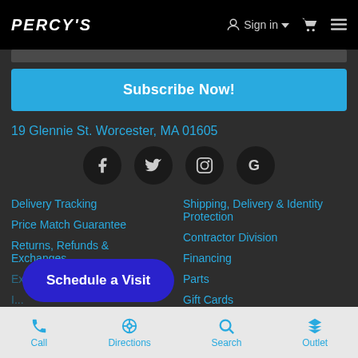PERCY'S  Sign in  [cart] [menu]
Subscribe Now!
19 Glennie St. Worcester, MA 01605
[Figure (infographic): Social media icons: Facebook, Twitter, Instagram, Google]
Delivery Tracking
Price Match Guarantee
Returns, Refunds & Exchanges
Ext...
I...
Repair
Shipping, Delivery & Identity Protection
Contractor Division
Financing
Parts
Gift Cards
Careers
Schedule a Visit
Call  Directions  Search  Outlet